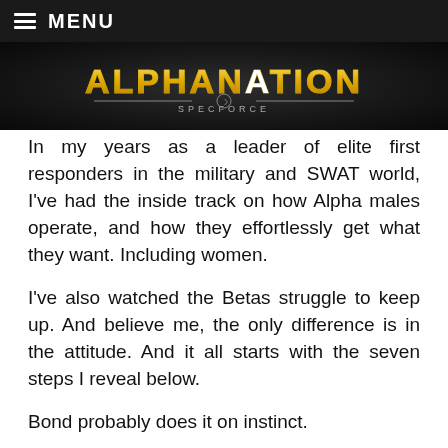≡ MENU
[Figure (logo): AlphaNation SpecForce logo with stylized yellow/white text on dark metallic background]
In my years as a leader of elite first responders in the military and SWAT world, I've had the inside track on how Alpha males operate, and how they effortlessly get what they want. Including women.
I've also watched the Betas struggle to keep up. And believe me, the only difference is in the attitude. And it all starts with the seven steps I reveal below.
Bond probably does it on instinct.